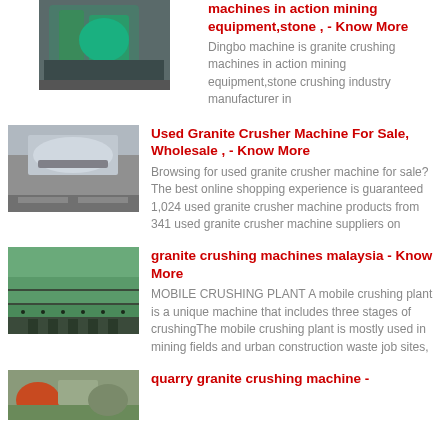[Figure (photo): Industrial machinery, teal/green colored equipment component]
machines in action mining equipment,stone , - Know More
Dingbo machine is granite crushing machines in action mining equipment,stone crushing industry manufacturer in
[Figure (photo): Close-up of granite or stone crusher machine surface]
Used Granite Crusher Machine For Sale, Wholesale , - Know More
Browsing for used granite crusher machine for sale? The best online shopping experience is guaranteed 1,024 used granite crusher machine products from 341 used granite crusher machine suppliers on
[Figure (photo): Conveyor belt or industrial platform with perforated surface]
granite crushing machines malaysia - Know More
MOBILE CRUSHING PLANT A mobile crushing plant is a unique machine that includes three stages of crushingThe mobile crushing plant is mostly used in mining fields and urban construction waste job sites,
[Figure (photo): Quarry scene with construction equipment]
quarry granite crushing machine -